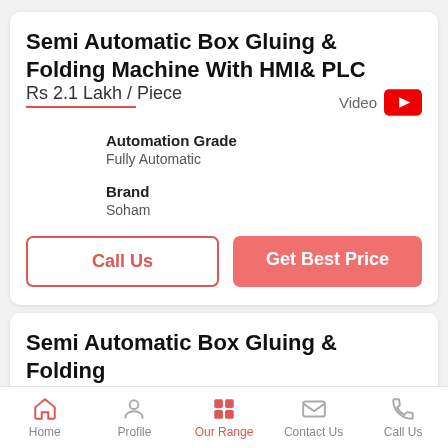Semi Automatic Box Gluing & Folding Machine With HMI& PLC
Rs 2.1 Lakh / Piece
Video
Automation Grade
Fully Automatic
Brand
Soham
Call Us
Get Best Price
Semi Automatic Box Gluing & Folding
Home | Profile | Our Range | Contact Us | Call Us